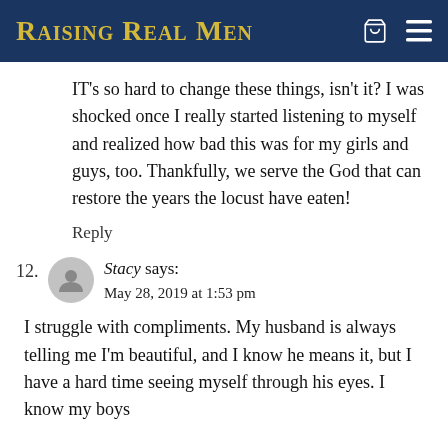Raising Real Men
IT's so hard to change these things, isn't it? I was shocked once I really started listening to myself and realized how bad this was for my girls and guys, too. Thankfully, we serve the God that can restore the years the locust have eaten!
Reply
Stacy says:
May 28, 2019 at 1:53 pm
I struggle with compliments. My husband is always telling me I'm beautiful, and I know he means it, but I have a hard time seeing myself through his eyes. I know my boys